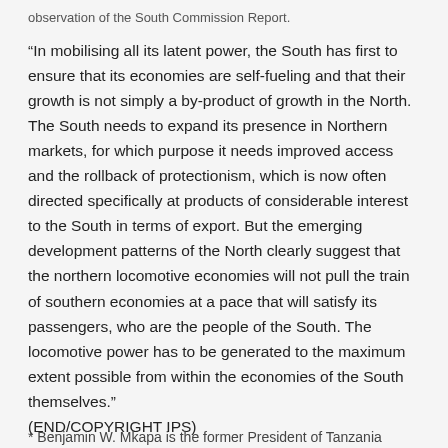observation of the South Commission Report.
“In mobilising all its latent power, the South has first to ensure that its economies are self-fueling and that their growth is not simply a by-product of growth in the North. The South needs to expand its presence in Northern markets, for which purpose it needs improved access and the rollback of protectionism, which is now often directed specifically at products of considerable interest to the South in terms of export. But the emerging development patterns of the North clearly suggest that the northern locomotive economies will not pull the train of southern economies at a pace that will satisfy its passengers, who are the people of the South. The locomotive power has to be generated to the maximum extent possible from within the economies of the South themselves.”
(END/COPYRIGHT IPS)
* Benjamin W. Mkapa is the former President of Tanzania